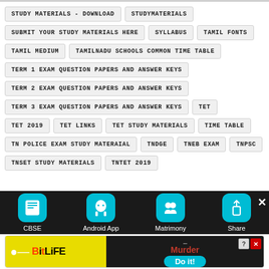STUDY MATERIALS - DOWNLOAD
STUDYMATERIALS
SUBMIT YOUR STUDY MATERIALS HERE
SYLLABUS
TAMIL FONTS
TAMIL MEDIUM
TAMILNADU SCHOOLS COMMON TIME TABLE
TERM 1 EXAM QUESTION PAPERS AND ANSWER KEYS
TERM 2 EXAM QUESTION PAPERS AND ANSWER KEYS
TERM 3 EXAM QUESTION PAPERS AND ANSWER KEYS
TET
TET 2019
TET LINKS
TET STUDY MATERIALS
TIME TABLE
TN POLICE EXAM STUDY MATERAIAL
TNDGE
TNEB EXAM
TNPSC
TNSET STUDY MATERIALS
TNTET 2019
[Figure (screenshot): Bottom navigation bar with CBSE, Android App, Matrimony, Share icons on dark background]
[Figure (screenshot): BitLife advertisement banner with Murder/Do it! text]